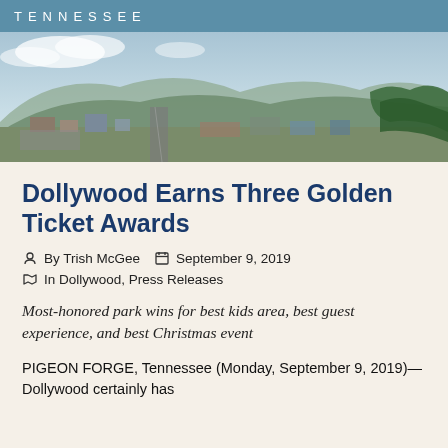TENNESSEE
[Figure (photo): Aerial panoramic photograph of Pigeon Forge, Tennessee, showing the main strip road with businesses, parking lots, and the Smoky Mountains in the background under a partly cloudy sky.]
Dollywood Earns Three Golden Ticket Awards
By Trish McGee   September 9, 2019
In Dollywood, Press Releases
Most-honored park wins for best kids area, best guest experience, and best Christmas event
PIGEON FORGE, Tennessee (Monday, September 9, 2019)—Dollywood certainly has